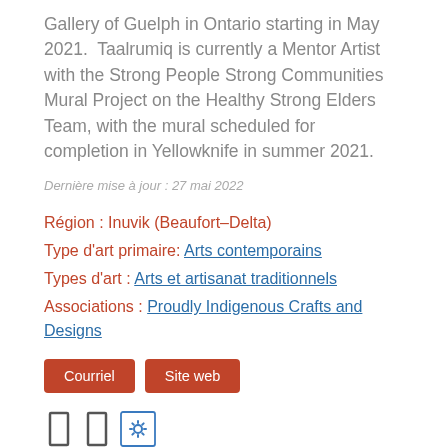Gallery of Guelph in Ontario starting in May 2021. Taalrumiq is currently a Mentor Artist with the Strong People Strong Communities Mural Project on the Healthy Strong Elders Team, with the mural scheduled for completion in Yellowknife in summer 2021.
Dernière mise à jour : 27 mai 2022
Région : Inuvik (Beaufort–Delta)
Type d'art primaire: Arts contemporains
Types d'art : Arts et artisanat traditionnels
Associations : Proudly Indigenous Crafts and Designs
Courriel  Site web
[Figure (other): Row of three small icons: two vertical bar/bookmark icons and one gear/settings icon inside a square border]